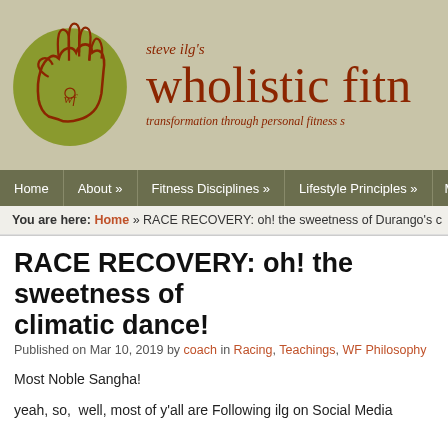[Figure (logo): Steve Ilg's Wholistic Fitness website header with logo (hand in olive circle) and site name/tagline]
Home | About » | Fitness Disciplines » | Lifestyle Principles » | Mo...
You are here: Home » RACE RECOVERY: oh! the sweetness of Durango's c...
RACE RECOVERY: oh! the sweetness of climatic dance!
Published on Mar 10, 2019 by coach in Racing, Teachings, WF Philosophy
Most Noble Sangha!
yeah, so,  well, most of y'all are Following ilg on Social Media